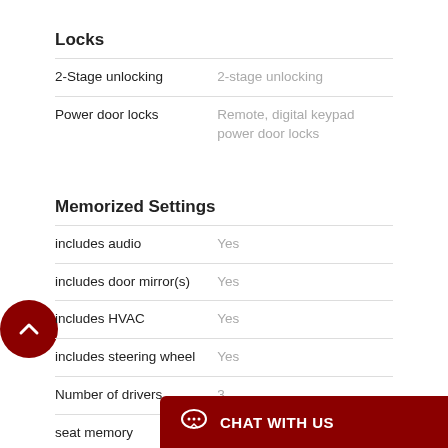Locks
| Feature | Value |
| --- | --- |
| 2-Stage unlocking | 2-stage unlocking |
| Power door locks | Remote, digital keypad power door locks |
Memorized Settings
| Feature | Value |
| --- | --- |
| includes audio | Yes |
| includes door mirror(s) | Yes |
| includes HVAC | Yes |
| includes steering wheel | Yes |
| Number of drivers | 3 |
| seat memory | Driver |
Mirrors
| Feature | Value |
| --- | --- |
| Auto-dimming mirrors | Electrochromatic, driver only |
| Driver mirror ad... | ...r remote |